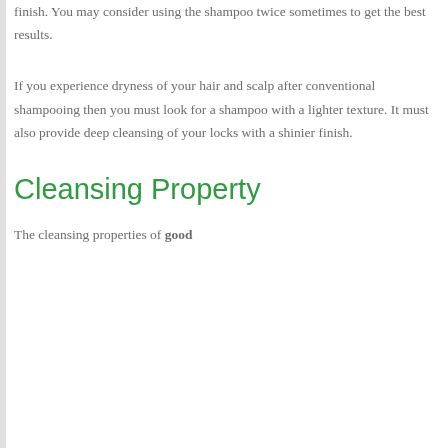finish. You may consider using the shampoo twice sometimes to get the best results.
If you experience dryness of your hair and scalp after conventional shampooing then you must look for a shampoo with a lighter texture. It must also provide deep cleansing of your locks with a shinier finish.
Cleansing Property
The cleansing properties of good